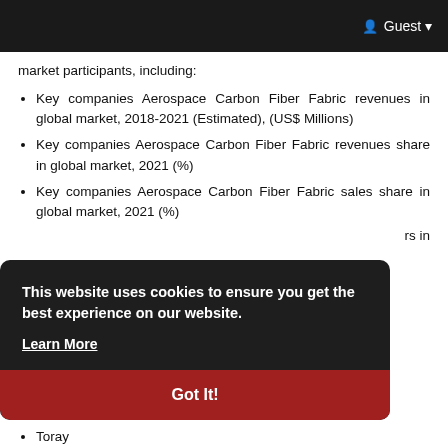Guest
market participants, including:
Key companies Aerospace Carbon Fiber Fabric revenues in global market, 2018-2021 (Estimated), (US$ Millions)
Key companies Aerospace Carbon Fiber Fabric revenues share in global market, 2021 (%)
Key companies Aerospace Carbon Fiber Fabric sales share in global market, 2021 (%)
rs in
[Figure (screenshot): Cookie consent banner with text 'This website uses cookies to ensure you get the best experience on our website.' with 'Learn More' link and 'Got It!' button on dark background]
Toray